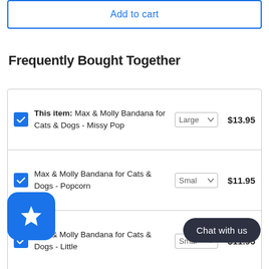Add to cart
Frequently Bought Together
| Select | Product | Size | Price |
| --- | --- | --- | --- |
| ✓ | This item: Max & Molly Bandana for Cats & Dogs - Missy Pop | Large | $13.95 |
| ✓ | Max & Molly Bandana for Cats & Dogs - Popcorn | Smal | $11.95 |
| ✓ | Max & Molly Bandana for Cats & Dogs - Little | Smal | $11.95 |
Chat with us